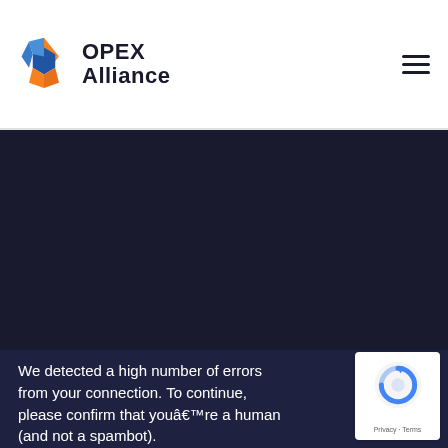[Figure (logo): OPEX Alliance logo with blue and orange geometric star/diamond shape and text 'OPEX Alliance']
[Figure (screenshot): Dark navy background section (website hero area), mostly empty/dark]
We detected a high number of errors from your connection. To continue, please confirm that youâ€™re a human (and not a spambot).
[Figure (other): reCAPTCHA badge with Google reCAPTCHA logo and 'Privacy - Terms' text]